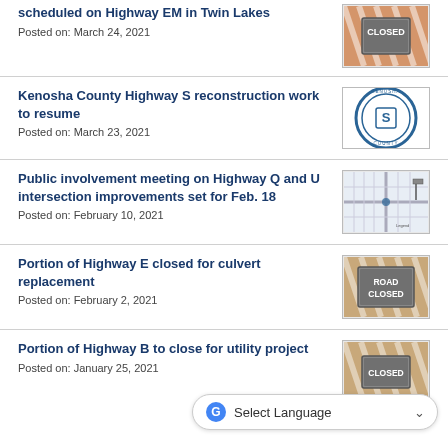scheduled on Highway EM in Twin Lakes
Posted on: March 24, 2021
Kenosha County Highway S reconstruction work to resume
Posted on: March 23, 2021
Public involvement meeting on Highway Q and U intersection improvements set for Feb. 18
Posted on: February 10, 2021
Portion of Highway E closed for culvert replacement
Posted on: February 2, 2021
Portion of Highway B to close for utility project
Posted on: January 25, 2021
Select Language